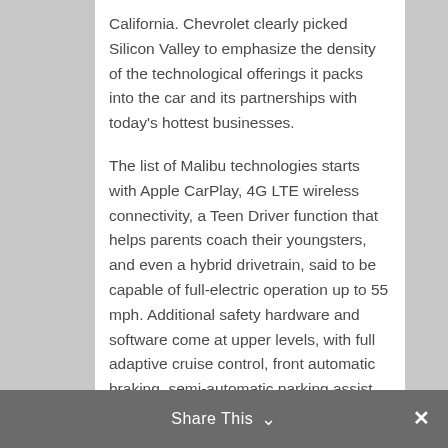California. Chevrolet clearly picked Silicon Valley to emphasize the density of the technological offerings it packs into the car and its partnerships with today's hottest businesses.

The list of Malibu technologies starts with Apple CarPlay, 4G LTE wireless connectivity, a Teen Driver function that helps parents coach their youngsters, and even a hybrid drivetrain, said to be capable of full-electric operation up to 55 mph. Additional safety hardware and software come at upper levels, with full adaptive cruise control, front automatic braking, semi-automatic parking assist, and an electronic parking brake all available. Tech was a shortcoming of the previous Malibu, but now it's leapfrogging some of its competition.
Share This ∨  ✕